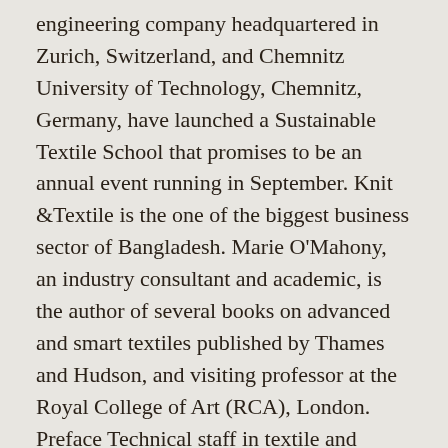engineering company headquartered in Zurich, Switzerland, and Chemnitz University of Technology, Chemnitz, Germany, have launched a Sustainable Textile School that promises to be an annual event running in September. Knit &Textile is the one of the biggest business sector of Bangladesh. Marie O'Mahony, an industry consultant and academic, is the author of several books on advanced and smart textiles published by Thames and Hudson, and visiting professor at the Royal College of Art (RCA), London. Preface Technical staff in textile and apparel industry is the backbone for the industry to run successfully. Commercial viability boosts the visibility of wearable technology. Without such